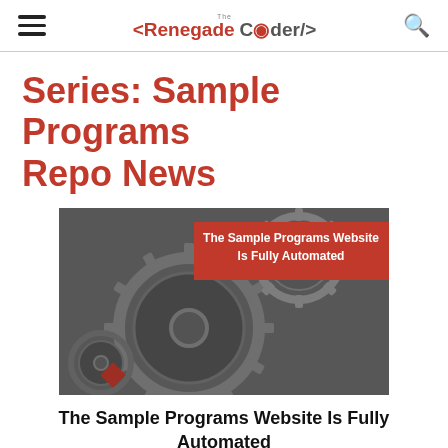The Renegade Coder
Series: Sample Programs Repo News
[Figure (photo): Close-up photo of interlocking metal gears in black and white, with a red banner overlay reading 'The Sample Programs Website Is Fully Automated']
The Sample Programs Website Is Fully Automated